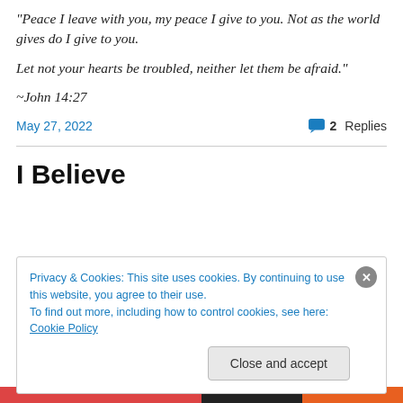the world gives do I give to you.
Let not your hearts be troubled, neither let them be afraid."
~John 14:27
May 27, 2022   2 Replies
I Believe
Privacy & Cookies: This site uses cookies. By continuing to use this website, you agree to their use. To find out more, including how to control cookies, see here: Cookie Policy